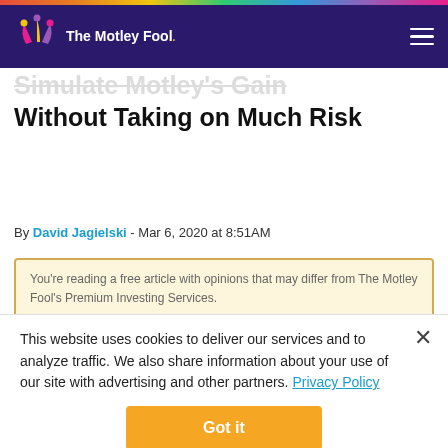The Motley Fool
Without Taking on Much Risk
By David Jagielski - Mar 6, 2020 at 8:51AM
You're reading a free article with opinions that may differ from The Motley Fool's Premium Investing Services.
This website uses cookies to deliver our services and to analyze traffic. We also share information about your use of our site with advertising and other partners. Privacy Policy
Got it
Cookie Settings